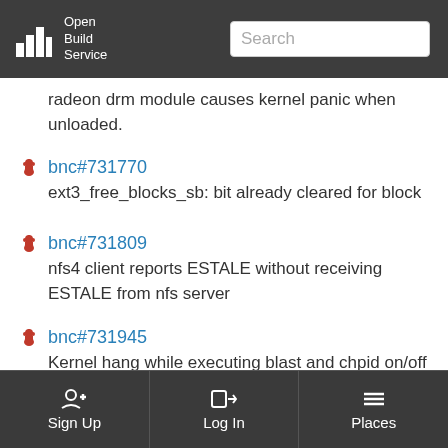[Figure (screenshot): Open Build Service logo and header with search box]
radeon drm module causes kernel panic when unloaded.
bnc#731770 ext3_free_blocks_sb: bit already cleared for block
bnc#731809 nfs4 client reports ESTALE without receiving ESTALE from nfs server
bnc#731945 Kernel hang while executing blast and chpid on/off on zfcp/scsi and DASD device
bnc#731999
Sign Up  Log In  Places